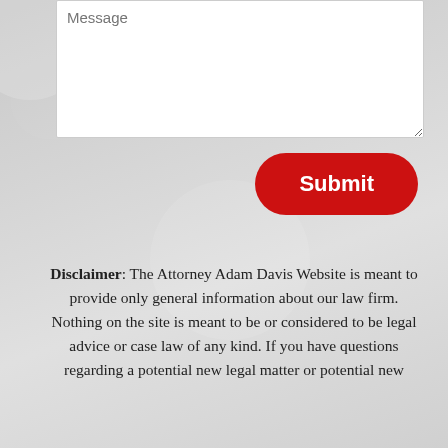[Figure (screenshot): A message textarea input field with placeholder text 'Message', showing a white text input box with a resize handle in the bottom-right corner, on a gray background.]
[Figure (screenshot): A red rounded Submit button with white bold text.]
Disclaimer: The Attorney Adam Davis Website is meant to provide only general information about our law firm. Nothing on the site is meant to be or considered to be legal advice or case law of any kind. If you have questions regarding a potential new legal matter or potential new